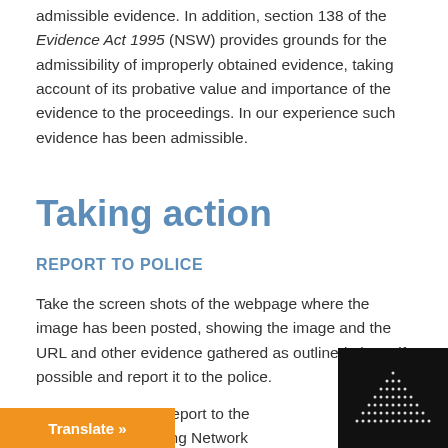admissible evidence. In addition, section 138 of the Evidence Act 1995 (NSW) provides grounds for the admissibility of improperly obtained evidence, taking account of its probative value and importance of the evidence to the proceedings. In our experience such evidence has been admissible.
Taking action
REPORT TO POLICE
Take the screen shots of the webpage where the image has been posted, showing the image and the URL and other evidence gathered as outlined above if possible and report it to the police.
so make an online report to the rime Online Reporting Network
[Figure (logo): Dark logo box with dot-pattern pyramid/mountain shape in white dots on black background]